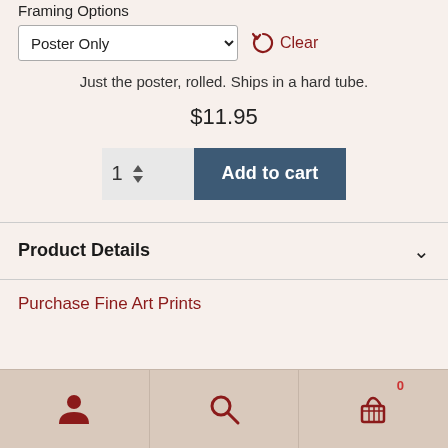Framing Options
Poster Only (dropdown) | Clear
Just the poster, rolled. Ships in a hard tube.
$11.95
1  Add to cart
Product Details
Purchase Fine Art Prints
[Figure (infographic): Bottom navigation bar with three icons: person/account icon, search magnifying glass icon, and shopping basket icon with badge showing 0]